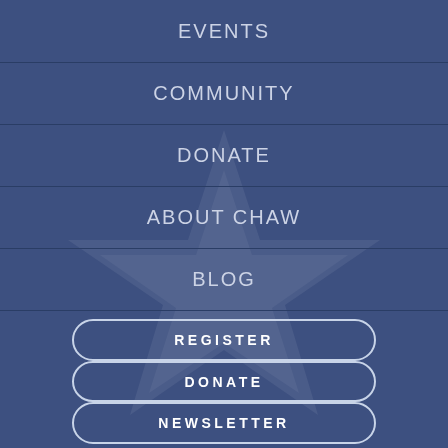EVENTS
COMMUNITY
DONATE
ABOUT CHAW
BLOG
[Figure (illustration): Large star shape watermark in lighter blue on dark blue background]
REGISTER
DONATE
NEWSLETTER